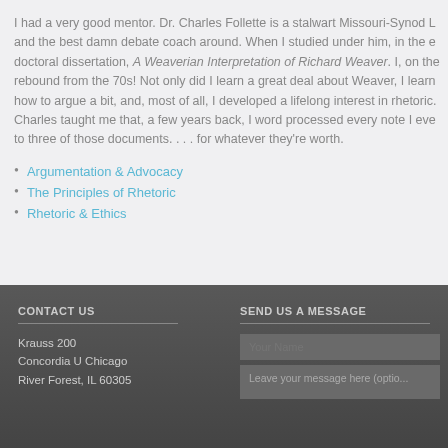I had a very good mentor. Dr. Charles Follette is a stalwart Missouri-Synod L and the best damn debate coach around. When I studied under him, in the e doctoral dissertation, A Weaverian Interpretation of Richard Weaver. I, on the rebound from the 70s! Not only did I learn a great deal about Weaver, I learn how to argue a bit, and, most of all, I developed a lifelong interest in rhetoric. Charles taught me that, a few years back, I word processed every note I eve to three of those documents. . . . for whatever they're worth.
Argumentation & Advocacy
The Principles of Rhetoric
Rhetoric & Ethics
CONTACT US
Krauss 200
Concordia U Chicago
River Forest, IL 60305
SEND US A MESSAGE
Your Name
Leave your message here (optio...